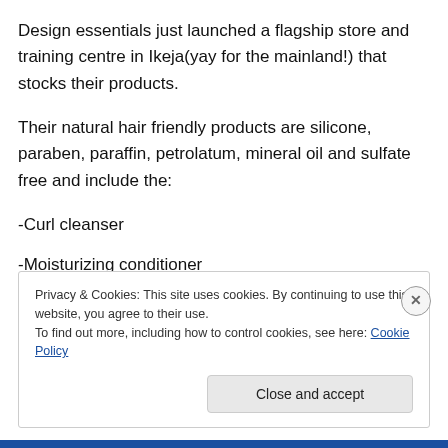Design essentials just launched a flagship store and training centre in Ikeja(yay for the mainland!) that stocks their products.
Their natural hair friendly products are silicone, paraben, paraffin, petrolatum, mineral oil and sulfate free and include the:
-Curl cleanser
-Moisturizing conditioner
Privacy & Cookies: This site uses cookies. By continuing to use this website, you agree to their use.
To find out more, including how to control cookies, see here: Cookie Policy
Close and accept